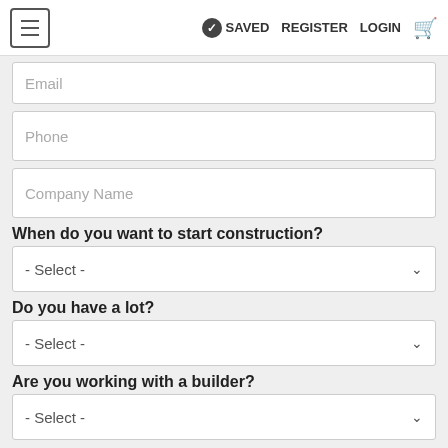SAVED  REGISTER  LOGIN
Email
Phone
Company Name
When do you want to start construction?
- Select -
Do you have a lot?
- Select -
Are you working with a builder?
- Select -
Where do you plan on building?
- Country -
Chat